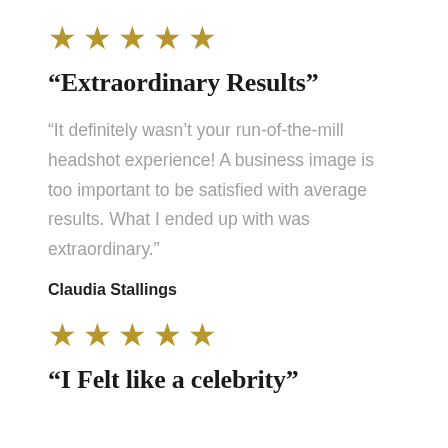[Figure (other): Five gold stars rating]
“Extraordinary Results”
“It definitely wasn’t your run-of-the-mill headshot experience! A business image is too important to be satisfied with average results. What I ended up with was extraordinary.”
Claudia Stallings
[Figure (other): Five gold stars rating]
“I Felt like a celebrity”